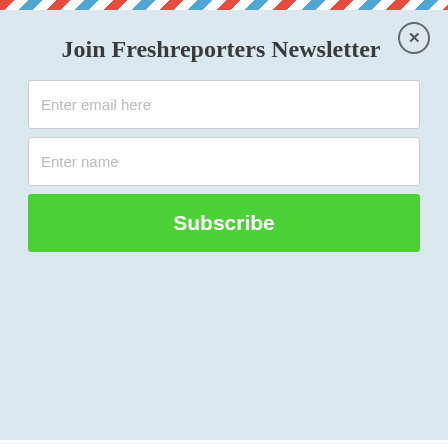Join Freshreporters Newsletter
Enter email here
Enter name
Subscribe
To Ebuka
Benjamin Osei – August 21, 2022
BBNAIJA S7: Kess, Pharmsavi Evicted From The Show
Benjamin Osei – August 21, 2022